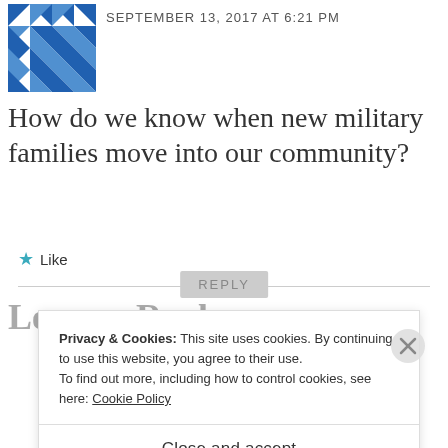[Figure (logo): Blue decorative quilt-pattern avatar icon]
SEPTEMBER 13, 2017 AT 6:21 PM
How do we know when new military families move into our community?
★ Like
REPLY
Leave a Reply
Privacy & Cookies: This site uses cookies. By continuing to use this website, you agree to their use.
To find out more, including how to control cookies, see here: Cookie Policy
Close and accept